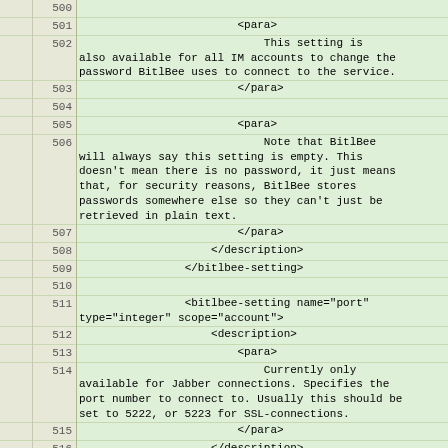|  | line | code |
| --- | --- | --- |
|  | 500 |  |
|  | 501 |                         <para> |
|  | 502 |                             This setting is
also available for all IM accounts to change the
password BitlBee uses to connect to the service. |
|  | 503 |                         </para> |
|  | 504 |  |
|  | 505 |                         <para> |
|  | 506 |                             Note that BitlBee
will always say this setting is empty. This
doesn't mean there is no password, it just means
that, for security reasons, BitlBee stores
passwords somewhere else so they can't just be
retrieved in plain text. |
|  | 507 |                         </para> |
|  | 508 |                     </description> |
|  | 509 |                 </bitlbee-setting> |
|  | 510 |  |
|  | 511 |                 <bitlbee-setting name="port"
type="integer" scope="account"> |
|  | 512 |                     <description> |
|  | 513 |                         <para> |
|  | 514 |                             Currently only
available for Jabber connections. Specifies the
port number to connect to. Usually this should be
set to 5222, or 5223 for SSL-connections. |
|  | 515 |                         </para> |
|  | 516 |                     </description> |
|  | 517 |                 </bitlbee-setting> |
|  | 518 |  |
|  | 519 |                 <bitlbee-setting name="private"
type="boolean" scope="global"> |
|  | 520 |                     <default>true</default> |
|  | 521 |  |